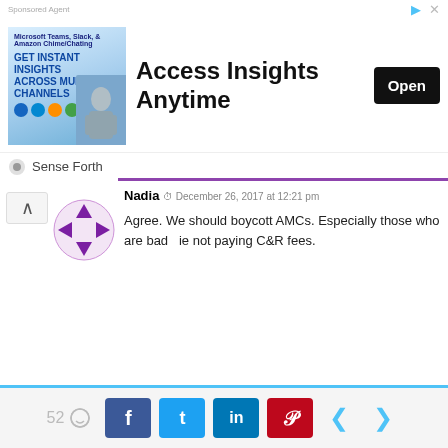[Figure (screenshot): Advertisement banner: 'Access Insights Anytime' with Open button, product image with person, Microsoft branding]
Sense Forth
Nadia   December 26, 2017 at 12:21 pm
Agree. We should boycott AMCs. Especially those who are bad   ie not paying C&R fees.
Reply
Baggins   October 5, 2016 at 2:11 pm
Good one Wayne.  Time for some oldies but goodies.
[Figure (photo): Black and white vintage photo of people in uniform with video play button overlay]
52 comments · Share on Facebook, Twitter, LinkedIn, Pinterest